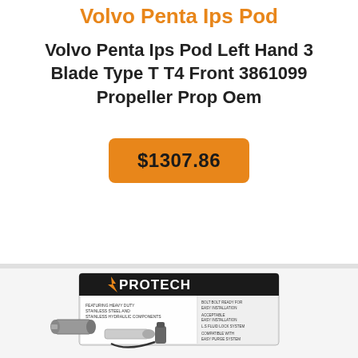Volvo Penta Ips Pod
Volvo Penta Ips Pod Left Hand 3 Blade Type T T4 Front 3861099 Propeller Prop Oem
$1307.86
[Figure (photo): Product photo of a Protech branded marine steering system kit box with components including cylinders, hoses, and fittings displayed in front of the box.]